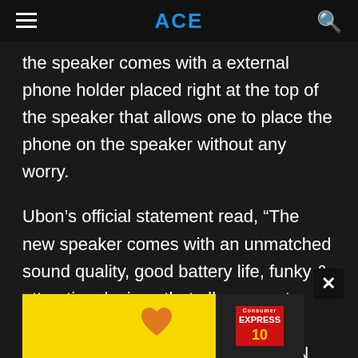ACE
the speaker comes with a external phone holder placed right at the top of the speaker that allows one to place the phone on the speaker without any worry.
Ubon’s official statement read, “The new speaker comes with an unmatched sound quality, good battery life, funky & attractive designs that allows you to leave your signature in your parties. Given its compact design, the UBON SP 45 can be easily carried anywhere. The speaker is completely wireless with a frequency range of 20Hz~25KHz. So, keep y… he … UBON’s…
[Figure (other): Advertisement overlay with yellow background, orange heart icon, and a magazine (Consumer Express) image. Close button (X) in top-right corner of ad.]